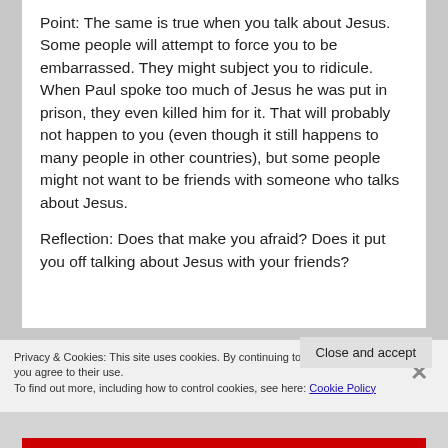Point: The same is true when you talk about Jesus. Some people will attempt to force you to be embarrassed. They might subject you to ridicule. When Paul spoke too much of Jesus he was put in prison, they even killed him for it. That will probably not happen to you (even though it still happens to many people in other countries), but some people might not want to be friends with someone who talks about Jesus.
Reflection: Does that make you afraid? Does it put you off talking about Jesus with your friends?
Privacy & Cookies: This site uses cookies. By continuing to use this website, you agree to their use. To find out more, including how to control cookies, see here: Cookie Policy